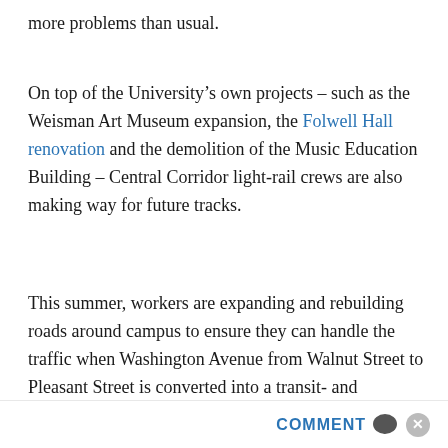more problems than usual.
On top of the University’s own projects – such as the Weisman Art Museum expansion, the Folwell Hall renovation and the demolition of the Music Education Building – Central Corridor light-rail crews are also making way for future tracks.
This summer, workers are expanding and rebuilding roads around campus to ensure they can handle the traffic when Washington Avenue from Walnut Street to Pleasant Street is converted into a transit- and
COMMENT